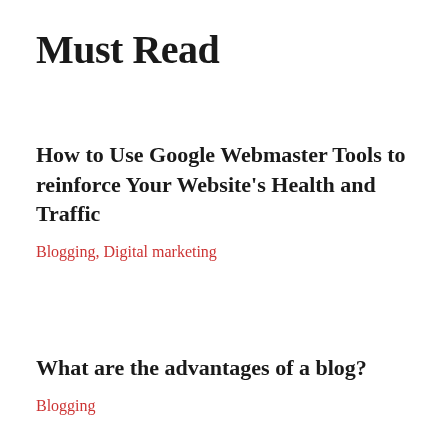Must Read
How to Use Google Webmaster Tools to reinforce Your Website's Health and Traffic
Blogging, Digital marketing
What are the advantages of a blog?
Blogging